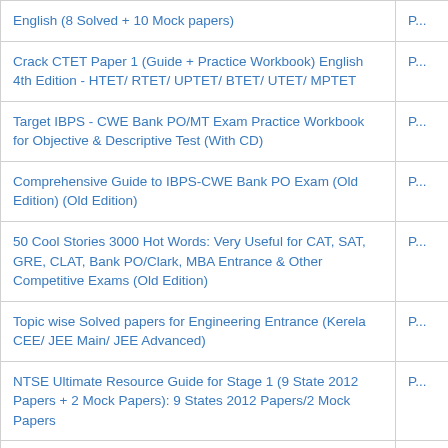| Title | P... |
| --- | --- |
| English (8 Solved + 10 Mock papers) | P... |
| Crack CTET Paper 1 (Guide + Practice Workbook) English 4th Edition - HTET/ RTET/ UPTET/ BTET/ UTET/ MPTET | P... |
| Target IBPS - CWE Bank PO/MT Exam Practice Workbook for Objective & Descriptive Test (With CD) | P... |
| Comprehensive Guide to IBPS-CWE Bank PO Exam (Old Edition) (Old Edition) | P... |
| 50 Cool Stories 3000 Hot Words: Very Useful for CAT, SAT, GRE, CLAT, Bank PO/Clark, MBA Entrance & Other Competitive Exams (Old Edition) | P... |
| Topic wise Solved papers for Engineering Entrance (Kerela CEE/ JEE Main/ JEE Advanced) | P... |
| NTSE Ultimate Resource Guide for Stage 1 (9 State 2012 Papers + 2 Mock Papers): 9 States 2012 Papers/2 Mock Papers | P... |
| Daily Practice Problem (DPP) Sheets for JEE Advanced Chemistry (Kota's Formula to Success) | P... |